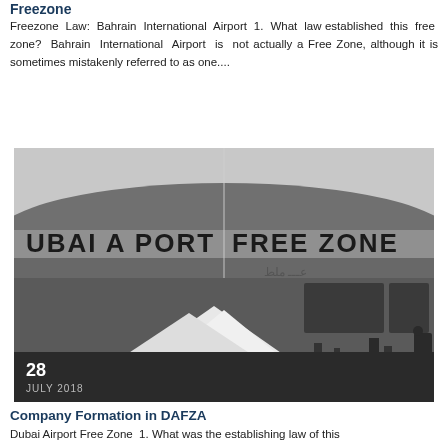Freezone
Freezone Law: Bahrain International Airport 1. What law established this free zone? Bahrain International Airport is not actually a Free Zone, although it is sometimes mistakenly referred to as one....
[Figure (photo): Black and white photograph of Dubai Airport Free Zone building exterior, showing the curved facade with large lettering reading 'DUBAI AIRPORT FREE ZONE' and Arabic text, with white tent structures in the foreground.]
28
JULY 2018
Company Formation in DAFZA
Dubai Airport Free Zone  1. What was the establishing law of this